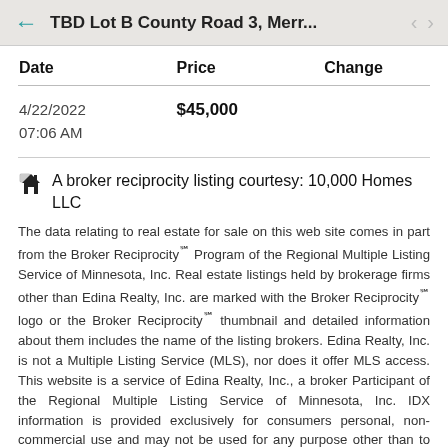TBD Lot B County Road 3, Merr...
| Date | Price | Change |
| --- | --- | --- |
| 4/22/2022
07:06 AM | $45,000 |  |
A broker reciprocity listing courtesy: 10,000 Homes LLC
The data relating to real estate for sale on this web site comes in part from the Broker Reciprocity℠ Program of the Regional Multiple Listing Service of Minnesota, Inc. Real estate listings held by brokerage firms other than Edina Realty, Inc. are marked with the Broker Reciprocity℠ logo or the Broker Reciprocity℠ thumbnail and detailed information about them includes the name of the listing brokers. Edina Realty, Inc. is not a Multiple Listing Service (MLS), nor does it offer MLS access. This website is a service of Edina Realty, Inc., a broker Participant of the Regional Multiple Listing Service of Minnesota, Inc. IDX information is provided exclusively for consumers personal, non-commercial use and may not be used for any purpose other than to identify prospective properties consumers may be interested in purchasing. Open House Information is subject to change without notice.